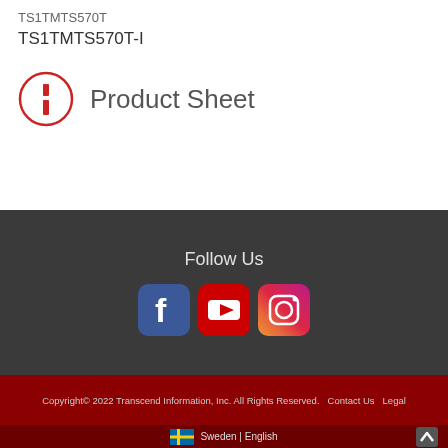TS1TMTS570T
TS1TMTS570T-I
[Figure (illustration): Red circle info icon with letter i, followed by 'Product Sheet' text label]
Follow Us
[Figure (logo): Social media icons: Facebook (blue rounded square), YouTube (red rounded square), Instagram (gradient rounded square)]
Copyright© 2022 Transcend Information, Inc. All Rights Reserved.   Contact Us   Legal
Sweden | English